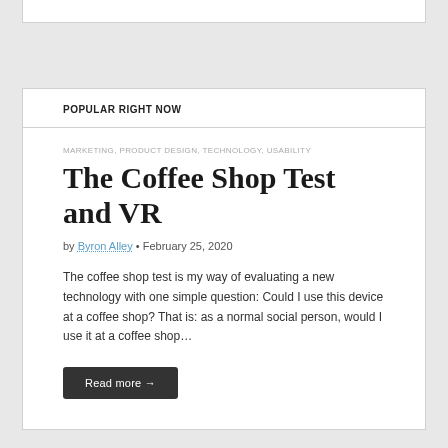POPULAR RIGHT NOW
MARKETING, PRODUCT DESIGN, TECHNOLOGY, USABILITY
The Coffee Shop Test and VR
by Byron Alley • February 25, 2020
The coffee shop test is my way of evaluating a new technology with one simple question: Could I use this device at a coffee shop? That is: as a normal social person, would I use it at a coffee shop…
Read more →